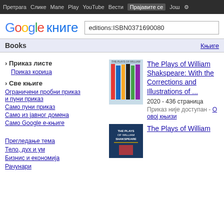Претрага Слике Мапе Play YouTube Вести Прајавите се Још ⚙
[Figure (logo): Google Књиге logo with search box containing 'editions:ISBN0371690080']
Books   Књиге
› Приказ листе
Приказ корица
› Све књиге
Ограничени пробни приказ и пуни приказ
Само пуни приказ
Само из јавног домена
Само Google е-књиге
Прегледање тема
Тело, дух и ум
Бизнис и економија
Рачунари
[Figure (photo): Book cover of The Plays of William Shakspeare - colorful spines design]
The Plays of William Shakspeare: With the Corrections and Illustrations of ...
2020 - 436 страница
Приказ није доступан - О овој књизи
[Figure (photo): Book cover of The Plays of William Shakspeare - dark blue background]
The Plays of William